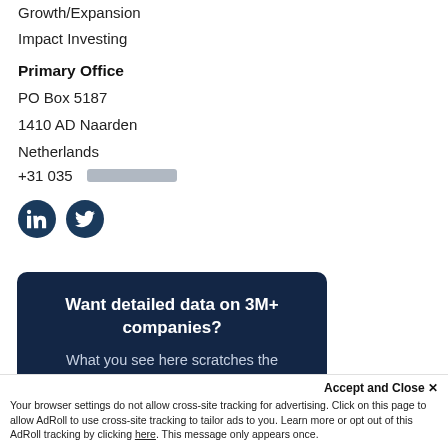Growth/Expansion
Impact Investing
Primary Office
PO Box 5187
1410 AD Naarden
Netherlands
+31 035 [redacted]
[Figure (illustration): LinkedIn and Twitter social media icon buttons (dark blue circles with white icons)]
Want detailed data on 3M+ companies?
What you see here scratches the surface
Accept and Close ×
Your browser settings do not allow cross-site tracking for advertising. Click on this page to allow AdRoll to use cross-site tracking to tailor ads to you. Learn more or opt out of this AdRoll tracking by clicking here. This message only appears once.